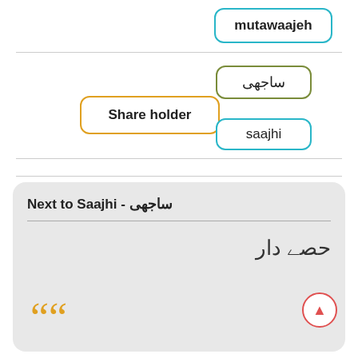mutawaajeh
ساجھی
Share holder
saajhi
Next to Saajhi - ساجھی
حصے دار
““